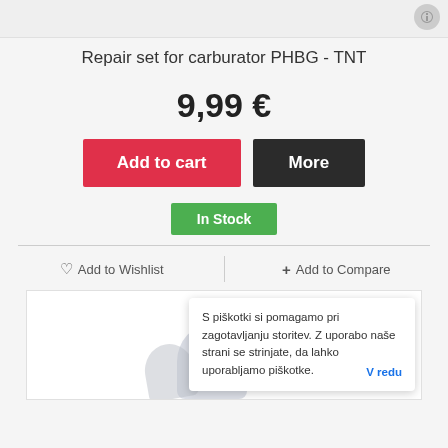[Figure (screenshot): Top partial product image strip with rounded icon in top-right corner]
Repair set for carburator PHBG - TNT
9,99 €
Add to cart | More
In Stock
♡ Add to Wishlist | + Add to Compare
[Figure (photo): Product image of carburetor repair set, partially visible at bottom of page with a cookie consent popup overlay]
S piškotki si pomagamo pri zagotavljanju storitev. Z uporabo naše strani se strinjate, da lahko uporabljamo piškotke. V redu